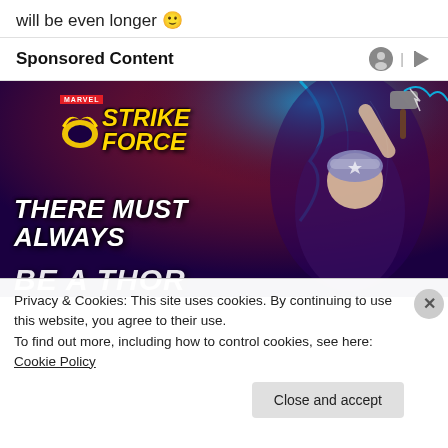will be even longer 🙂
Sponsored Content
[Figure (illustration): Marvel Strike Force mobile game advertisement featuring a female Thor character wielding a hammer with lightning effects. Text reads 'THERE MUST ALWAYS BE A THOR' on a purple/dark background with the Marvel Strike Force logo.]
Privacy & Cookies: This site uses cookies. By continuing to use this website, you agree to their use.
To find out more, including how to control cookies, see here: Cookie Policy
Close and accept